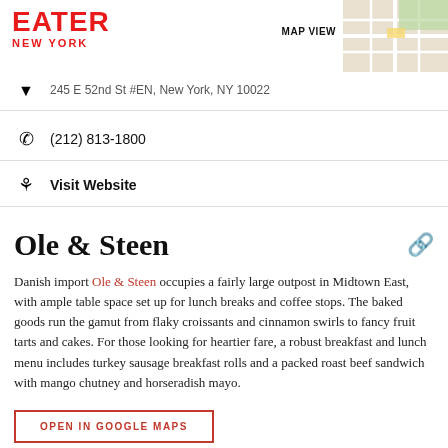EATER NEW YORK
245 E 52nd St #EN, New York, NY 10022
(212) 813-1800
Visit Website
Ole & Steen
Danish import Ole & Steen occupies a fairly large outpost in Midtown East, with ample table space set up for lunch breaks and coffee stops. The baked goods run the gamut from flaky croissants and cinnamon swirls to fancy fruit tarts and cakes. For those looking for heartier fare, a robust breakfast and lunch menu includes turkey sausage breakfast rolls and a packed roast beef sandwich with mango chutney and horseradish mayo.
OPEN IN GOOGLE MAPS